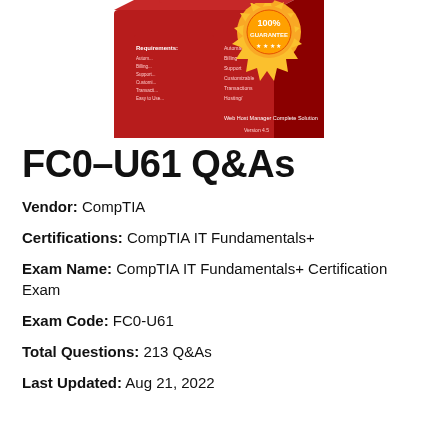[Figure (illustration): Product box image of a red software box with a gold '100% GUARANTEE' seal badge on it, partially cropped at top]
FC0-U61 Q&As
Vendor: CompTIA
Certifications: CompTIA IT Fundamentals+
Exam Name: CompTIA IT Fundamentals+ Certification Exam
Exam Code: FC0-U61
Total Questions: 213 Q&As
Last Updated: Aug 21, 2022